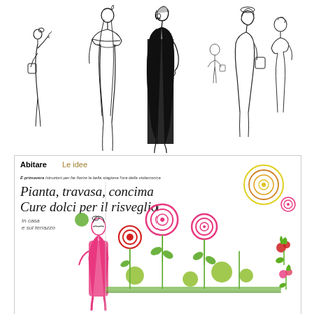[Figure (illustration): Fashion illustration sketch showing multiple elongated female figures in various poses and outfits. One figure on the far left is small, holding a bag. Center figures include one in a black dress with long hair, others in lighter draped garments. Rightmost figures are in profile. Line art style with one figure filled in solid black.]
[Figure (illustration): Newspaper article clipping from 'Abitare Le idee' section. Headline reads 'Pianta, travasa, concima / Cure dolci per il risveglio'. Features colorful illustration of roses and flowers in pink, green, red, yellow with a stylized female figure in pink. Article text in Italian about spring gardening.]